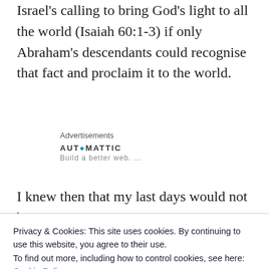Israel's calling to bring God's light to all the world (Isaiah 60:1-3) if only Abraham's descendants could recognise that fact and proclaim it to the world.
Advertisements
[Figure (logo): Automattic logo with tagline text below]
I knew then that my last days would not be spent
Privacy & Cookies: This site uses cookies. By continuing to use this website, you agree to their use.
To find out more, including how to control cookies, see here: Cookie Policy